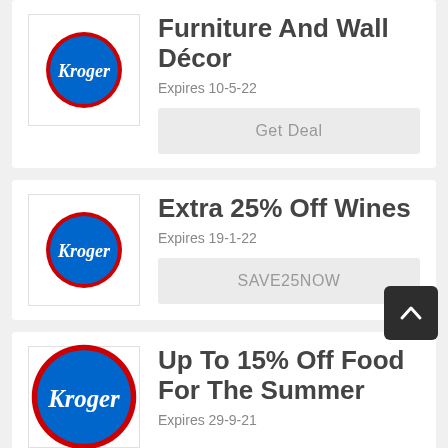[Figure (logo): Kroger logo - blue oval with red border and white Kroger text]
Furniture And Wall Décor
Expires 10-5-22
Get Deal
[Figure (logo): Kroger logo - blue oval with red border and white Kroger text]
Extra 25% Off Wines
Expires 19-1-22
SAVE25NOW
[Figure (logo): Kroger logo - blue oval with red border and white Kroger text]
Up To 15% Off Food For The Summer
Expires 29-9-21